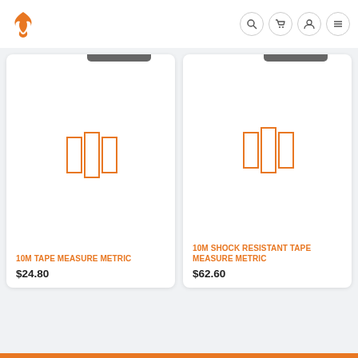[Figure (logo): Orange flame/wings logo icon in top left]
[Figure (screenshot): Navigation icons: search, cart, user, menu in circular buttons]
[Figure (illustration): Product image placeholder with orange tape measure icon for 10M TAPE MEASURE METRIC]
10M TAPE MEASURE METRIC
$24.80
[Figure (illustration): Product image placeholder with orange tape measure icon for 10M SHOCK RESISTANT TAPE MEASURE METRIC]
10M SHOCK RESISTANT TAPE MEASURE METRIC
$62.60